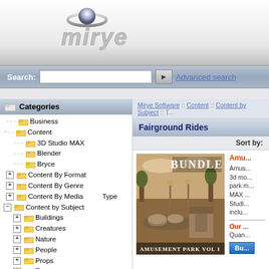[Figure (logo): Mirye software logo with grey metallic font and circular icon]
Search: [input] > Advanced search
[Figure (screenshot): Mirye Software website showing Categories sidebar with folder tree and Fairground Rides product listing with Amusement Park Vol 1 bundle]
Categories
Business
Content
3D Studio MAX
Blender
Bryce
Content By Format
Content By Genre
Content By Media Type
Content by Subject
Buildings
Creatures
Nature
People
Props
Taxonomy
Mirye Software :: Content :: Content by Subject :: T...
Fairground Rides
Sort by:
BUNDLE
Amusement Park Vol 1 - Amusement park 3d model. Bundle includes park models for 3D Studio MAX and Bryce. Studio MAX models includes...
Our Price:
Quantity:
AMUSEMENT PARK VOL 1
Bu...